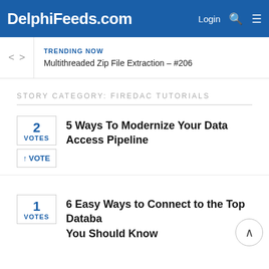DelphiFeeds.com
TRENDING NOW
Multithreaded Zip File Extraction – #206
STORY CATEGORY: FIREDAC TUTORIALS
2 VOTES
↑VOTE
5 Ways To Modernize Your Data Access Pipeline
1 VOTES
6 Easy Ways to Connect to the Top Databases You Should Know